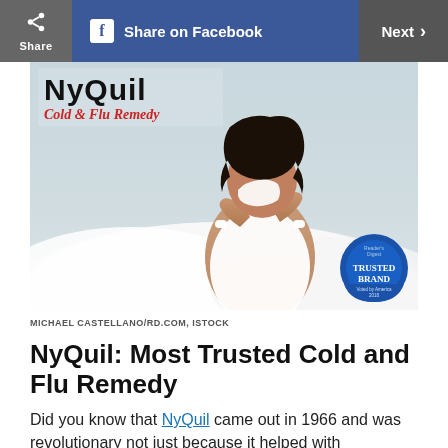[Figure (screenshot): Navigation bar with Share button, Share on Facebook button (blue), and Next > button on dark grey background]
[Figure (photo): NyQuil Cold & Flu Remedy advertisement image showing a young woman in a white tank top sitting on a bed blowing her nose into a tissue. NyQuil logo and 'Cold & Flu Remedy' text in upper left. 'Trusted Brand' badge in lower right corner.]
MICHAEL CASTELLANO/RD.COM, ISTOCK
NyQuil: Most Trusted Cold and Flu Remedy
Did you know that NyQuil came out in 1966 and was revolutionary not just because it helped with